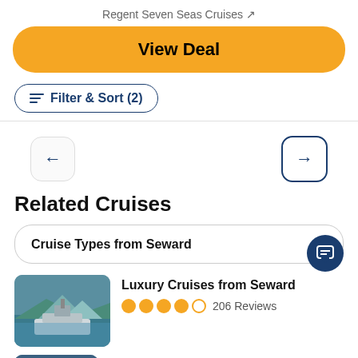Regent Seven Seas Cruises ↗
View Deal
≡ Filter & Sort (2)
[Figure (screenshot): Navigation arrows: left arrow button (gray border) and right arrow button (blue border)]
Related Cruises
Cruise Types from Seward
[Figure (photo): Thumbnail photo of a ship at a dock with snow-capped mountains in background]
Luxury Cruises from Seward
206 Reviews
[Figure (photo): Partial thumbnail of another cruise destination with mountains and water]